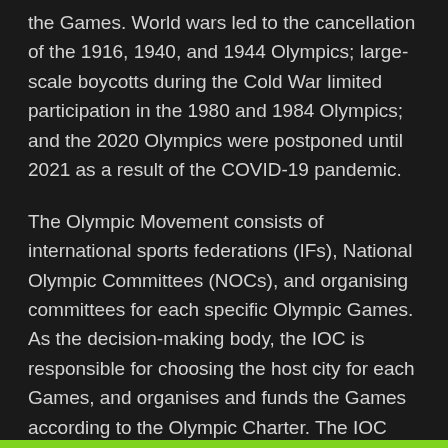the Games. World wars led to the cancellation of the 1916, 1940, and 1944 Olympics; large-scale boycotts during the Cold War limited participation in the 1980 and 1984 Olympics; and the 2020 Olympics were postponed until 2021 as a result of the COVID-19 pandemic.
The Olympic Movement consists of international sports federations (IFs), National Olympic Committees (NOCs), and organising committees for each specific Olympic Games. As the decision-making body, the IOC is responsible for choosing the host city for each Games, and organises and funds the Games according to the Olympic Charter. The IOC also determines the Olympic programme, consisting of the sports to be contested at the Games. There are several Olympic rituals and symbols, such as the Olympic flag and torch, as well as the opening and closing ceremonies. Over 14,000 athletes competed at the 2016 Summer Olympics and 2018 Winter Olympics combined, in 35 different